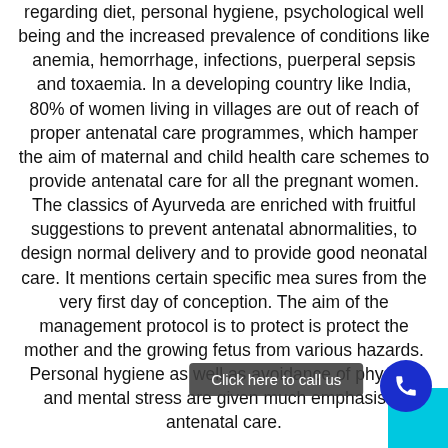regarding diet, personal hygiene, psychological well being and the increased prevalence of conditions like anemia, hemorrhage, infections, puerperal sepsis and toxaemia. In a developing country like India, 80% of women living in villages are out of reach of proper antenatal care programmes, which hamper the aim of maternal and child health care schemes to provide antenatal care for all the pregnant women. The classics of Ayurveda are enriched with fruitful suggestions to prevent antenatal abnormalities, to design normal delivery and to provide good neonatal care. It mentions certain specific mea sures from the very first day of conception. The aim of the management protocol is to protect is protect the mother and the growing fetus from various hazards. Personal hygiene as well as avoidance of physical and mental stress are given much emphasis in antenatal care.
The present study was planned with two aims - one to evaluate the effect of ancient antenatal care in